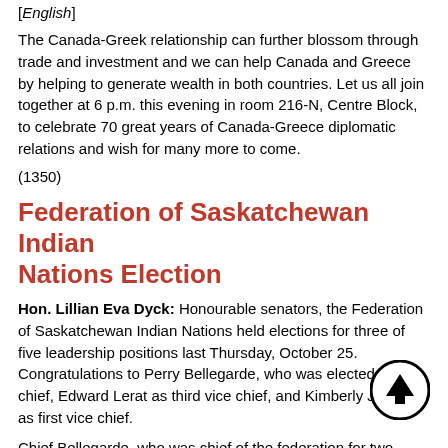[English]
The Canada-Greek relationship can further blossom through trade and investment and we can help Canada and Greece by helping to generate wealth in both countries. Let us all join together at 6 p.m. this evening in room 216-N, Centre Block, to celebrate 70 great years of Canada-Greece diplomatic relations and wish for many more to come.
(1350)
Federation of Saskatchewan Indian Nations Election
Hon. Lillian Eva Dyck: Honourable senators, the Federation of Saskatchewan Indian Nations held elections for three of five leadership positions last Thursday, October 25. Congratulations to Perry Bellegarde, who was elected as chief, Edward Lerat as third vice chief, and Kimberly Jonathan as first vice chief.
Chief Bellegarde, who was chief of the federation for two terms, from 1998 to 2003, said he looks forward to assembling a team that will lobby governments in support of treaties. Chief Bellegarde indicated that when the treaties are finally honoured and implemented, the gaps in housing, education and health care will